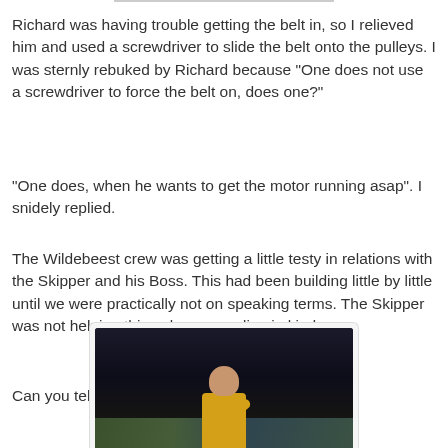Richard was having trouble getting the belt in, so I relieved him and used a screwdriver to slide the belt onto the pulleys. I was sternly rebuked by Richard because "One does not use a screwdriver to force the belt on, does one?"
"One does, when he wants to get the motor running asap". I snidely replied.
The Wildebeest crew was getting a little testy in relations with the Skipper and his Boss. This had been building little by little until we were practically not on speaking terms. The Skipper was not helping things by responding in kind.
Can you tell it wasn't me that took this photo?
[Figure (photo): A young boy in a yellow shirt standing at a navigation table or map, with arm raised, photographed in low light conditions aboard what appears to be a boat.]